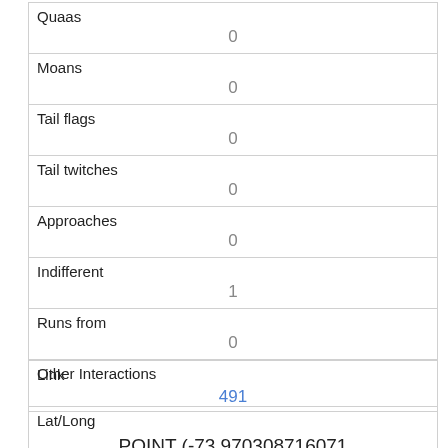| Field | Value |
| --- | --- |
| Quaas | 0 |
| Moans | 0 |
| Tail flags | 0 |
| Tail twitches | 0 |
| Approaches | 0 |
| Indifferent | 1 |
| Runs from | 0 |
| Other Interactions |  |
| Lat/Long | POINT (-73.970308716071 40.7763985667344) |
| Field | Value |
| --- | --- |
| Link | 491 |